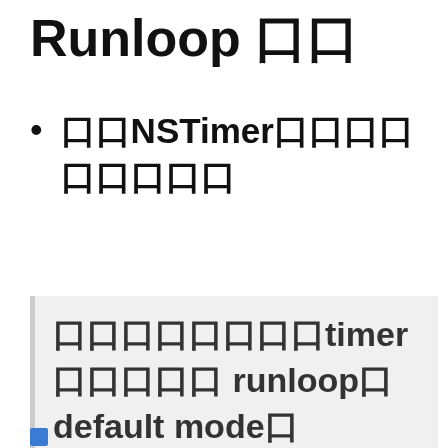Runloop 口口
口口NSTimer口口口口口口口口口口口
口口口口口口口口timer口口口口口runloop口default mode口